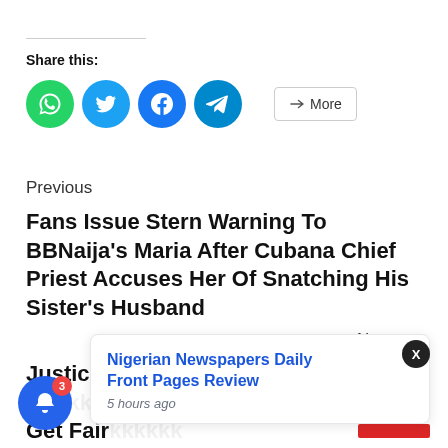Share this:
[Figure (infographic): Social share buttons: WhatsApp (green), Twitter (blue), Facebook (blue), Telegram (blue) circles, and a More button]
Previous
Fans Issue Stern Warning To BBNaija's Maria After Cubana Chief Priest Accuses Her Of Snatching His Sister's Husband
Next
Justice Nya… Pl… Nge…ll Ko… Wo… Get Fair…
[Figure (infographic): Notification popup: Nigerian Newspapers Daily Front Pages Review, 5 hours ago. Blue notification bell with badge showing 3. X close button.]